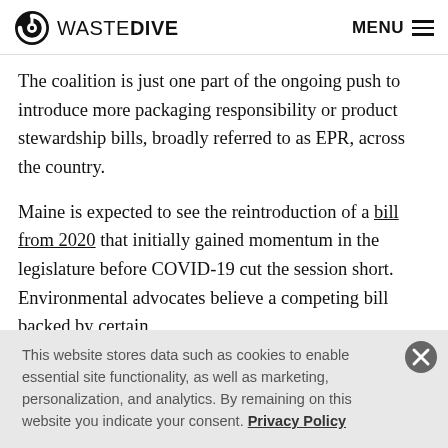WASTE DIVE | MENU
The coalition is just one part of the ongoing push to introduce more packaging responsibility or product stewardship bills, broadly referred to as EPR, across the country.
Maine is expected to see the reintroduction of a bill from 2020 that initially gained momentum in the legislature before COVID-19 cut the session short. Environmental advocates believe a competing bill backed by certain
This website stores data such as cookies to enable essential site functionality, as well as marketing, personalization, and analytics. By remaining on this website you indicate your consent. Privacy Policy